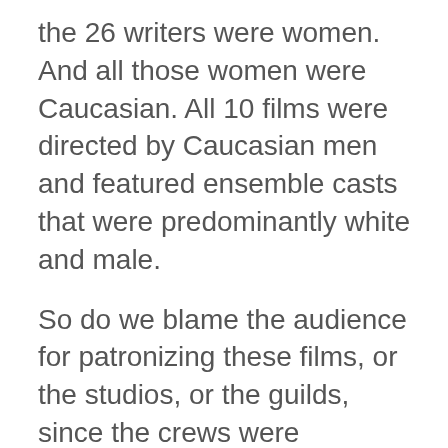the 26 writers were women. And all those women were Caucasian. All 10 films were directed by Caucasian men and featured ensemble casts that were predominantly white and male.
So do we blame the audience for patronizing these films, or the studios, or the guilds, since the crews were overwhelmingly white men?
The Academy declared 323 films eligible for Oscar. If blacks are 14.1% of the population, we should be debating 45 films (14.1% of the 2014 releases) and not just one. And we should be talking about 161 fil...